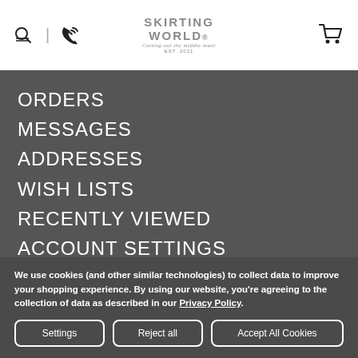Skirting World — Cutting out the middle man! EST. 2021
ORDERS
MESSAGES
ADDRESSES
WISH LISTS
RECENTLY VIEWED
ACCOUNT SETTINGS
We use cookies (and other similar technologies) to collect data to improve your shopping experience. By using our website, you're agreeing to the collection of data as described in our Privacy Policy.
Settings | Reject all | Accept All Cookies